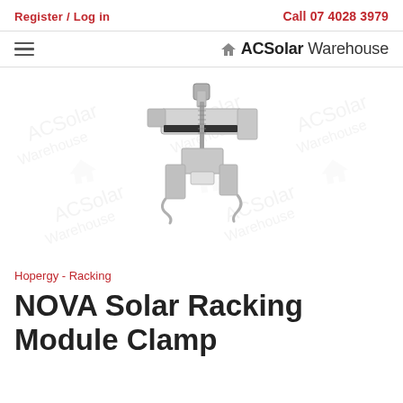Register / Log in | Call 07 4028 3979
[Figure (logo): AC Solar Warehouse logo with house icon]
[Figure (photo): NOVA Solar Racking Module Clamp product photo — stainless steel mounting clamp with bolt and bracket, watermarked with AC Solar Warehouse logos]
Hopergy - Racking
NOVA Solar Racking Module Clamp